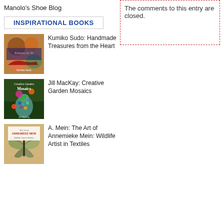Manolo's Shoe Blog
The comments to this entry are closed.
INSPIRATIONAL BOOKS
[Figure (illustration): Book cover: Kokoro no Te by Kumiko Sudo, showing decorative crafts and shoes]
Kumiko Sudo: Handmade Treasures from the Heart
[Figure (illustration): Book cover: Creative Garden Mosaics by Jill MacKay, showing mosaic vase with flowers]
Jill MacKay: Creative Garden Mosaics
[Figure (illustration): Book cover: The Art of Annemieke Mein: Wildlife Artist in Textiles, showing butterfly textile art]
A. Mein: The Art of Annemieke Mein: Wildlife Artist in Textiles